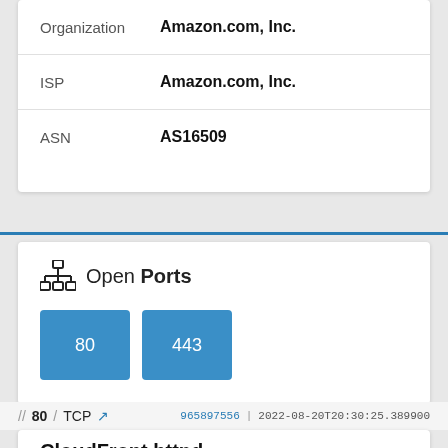| Field | Value |
| --- | --- |
| Organization | Amazon.com, Inc. |
| ISP | Amazon.com, Inc. |
| ASN | AS16509 |
Open Ports
80  443
// 80 / TCP  965897556 | 2022-08-20T20:30:25.389900
CloudFront httpd